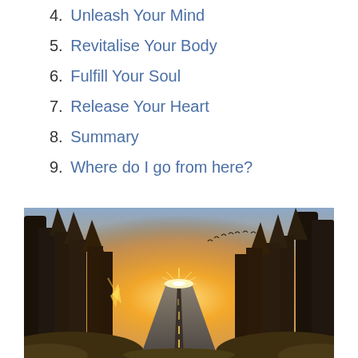4. Unleash Your Mind
5. Revitalise Your Body
6. Fulfill Your Soul
7. Release Your Heart
8. Summary
9. Where do I go from here?
[Figure (photo): A straight road stretching into the distance flanked by tall pine trees with warm golden sunset light and sunburst visible through the trees, birds flying in the sky]